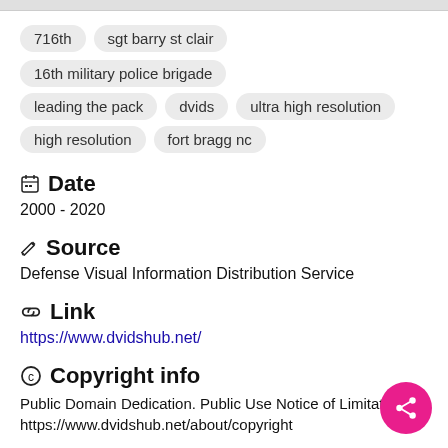716th
sgt barry st clair
16th military police brigade
leading the pack
dvids
ultra high resolution
high resolution
fort bragg nc
Date
2000 - 2020
Source
Defense Visual Information Distribution Service
Link
https://www.dvidshub.net/
Copyright info
Public Domain Dedication. Public Use Notice of Limitations: https://www.dvidshub.net/about/copyright